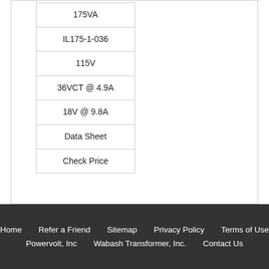| 175VA |
| IL175-1-036 |
| 115V |
| 36VCT @ 4.9A |
| 18V @ 9.8A |
| Data Sheet |
| Check Price |
Home   Refer a Friend   Sitemap   Privacy Policy   Terms of Use   Powervolt, Inc   Wabash Transformer, Inc.   Contact Us